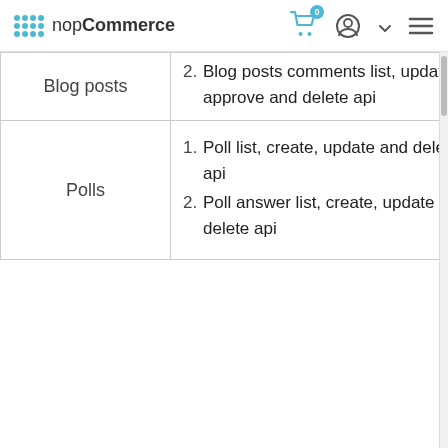nopCommerce
| Category | APIs |
| --- | --- |
| Blog posts | 2. Blog posts comments list, update, approve and delete api |
| Polls | 1. Poll list, create, update and delete api
2. Poll answer list, create, update and delete api |